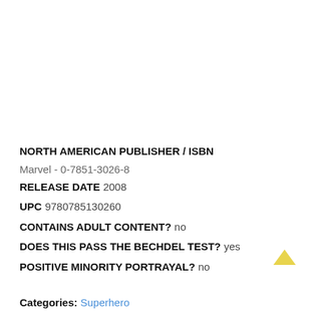NORTH AMERICAN PUBLISHER / ISBN
Marvel - 0-7851-3026-8
RELEASE DATE 2008
UPC 9780785130260
CONTAINS ADULT CONTENT? no
DOES THIS PASS THE BECHDEL TEST? yes
POSITIVE MINORITY PORTRAYAL? no
Categories: Superhero